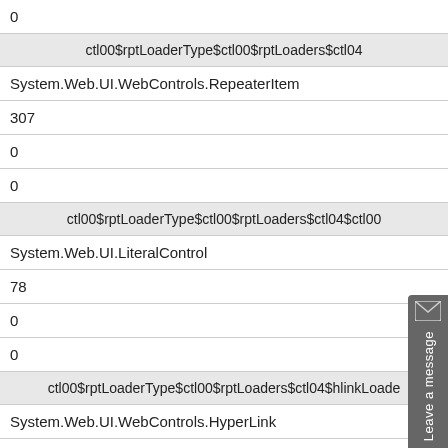| 0 |
| ctl00$rptLoaderType$ctl00$rptLoaders$ctl04 |
| System.Web.UI.WebControls.RepeaterItem |
| 307 |
| 0 |
| 0 |
| ctl00$rptLoaderType$ctl00$rptLoaders$ctl04$ctl00... |
| System.Web.UI.LiteralControl |
| 78 |
| 0 |
| 0 |
| ctl00$rptLoaderType$ctl00$rptLoaders$ctl04$hlinkLoade... |
| System.Web.UI.WebControls.HyperLink |
| 155 |
| 148 |
| 0 |